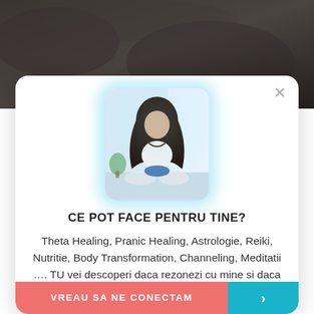[Figure (photo): Dark rocky/mountainous background photo at the top of the page behind the modal dialog]
[Figure (photo): Profile photo of a woman with long dark hair sitting cross-legged on a floor with bright window light, displayed inside the modal dialog with a glowing blue aura]
CE POT FACE PENTRU TINE?
Theta Healing, Pranic Healing, Astrologie, Reiki, Nutritie, Body Transformation, Channeling, Meditatii …. TU vei descoperi daca rezonezi cu mine si daca te pot ajuta.
VREAU SA NE CONECTAM